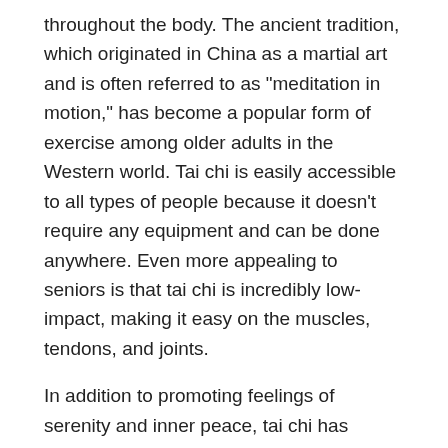throughout the body. The ancient tradition, which originated in China as a martial art and is often referred to as "meditation in motion," has become a popular form of exercise among older adults in the Western world. Tai chi is easily accessible to all types of people because it doesn't require any equipment and can be done anywhere. Even more appealing to seniors is that tai chi is incredibly low-impact, making it easy on the muscles, tendons, and joints.
In addition to promoting feelings of serenity and inner peace, tai chi has myriad mental and physical benefits:
Fall Prevention. Falls account for the highest